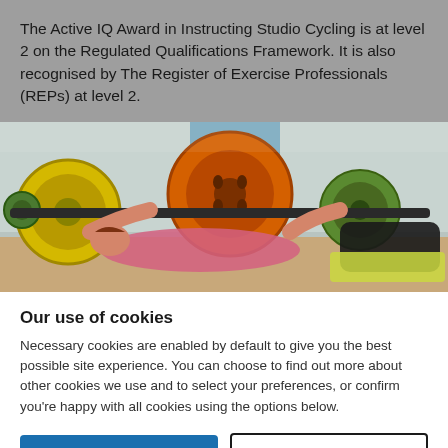The Active IQ Award in Instructing Studio Cycling is at level 2 on the Regulated Qualifications Framework. It is also recognised by The Register of Exercise Professionals (REPs) at level 2.
[Figure (photo): Photo of people exercising in a gym, performing barbell exercises, with colorful weight plates visible in orange, yellow, and green.]
Our use of cookies
Necessary cookies are enabled by default to give you the best possible site experience. You can choose to find out more about other cookies we use and to select your preferences, or confirm you're happy with all cookies using the options below.
Accept all cookies
I'd like to find out more